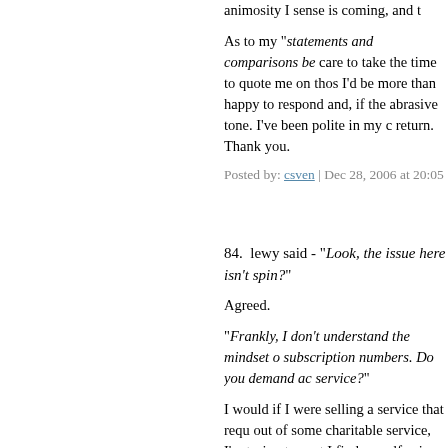animosity I sense is coming, and t
As to my "statements and comparisons be care to take the time to quote me on thos I'd be more than happy to respond and, if the abrasive tone. I've been polite in my c return. Thank you.
Posted by: csven | Dec 28, 2006 at 20:05
84.  lewy said - "Look, the issue here isn't spin?"
Agreed.
"Frankly, I don't understand the mindset o subscription numbers. Do you demand ac service?"
I would if I were selling a service that requ out of some charitable service, I'm trying t event I find myself using SL in a business questions to LL that finally got an answer corporations (I'm not sure, but I like to thi
"My suspicion is that the numbers make S secretly afraid of an "Earth and Beyond" c even worse for an SL subscriber because time in SL--buying land, importing texture
I don't know about others. Perhaps. Just